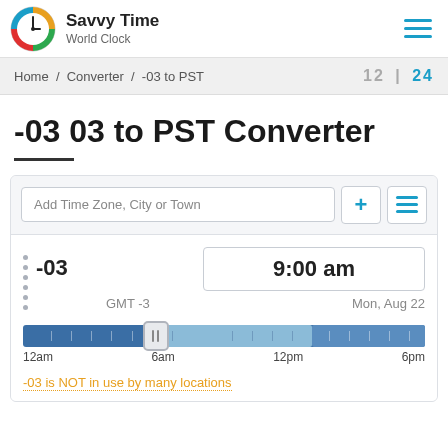Savvy Time World Clock
Home / Converter / -03 to PST
-03 03 to PST Converter
Add Time Zone, City or Town
-03   9:00 am   GMT -3   Mon, Aug 22
[Figure (other): Time slider bar showing 24-hour timeline with handle at ~9am position, dark blue for night, light blue for daytime]
12am   6am   12pm   6pm
-03 is NOT in use by many locations